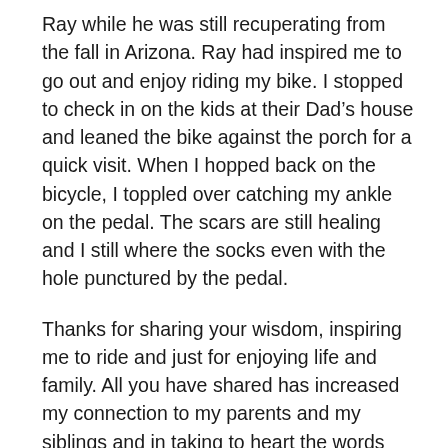Ray while he was still recuperating from the fall in Arizona. Ray had inspired me to go out and enjoy riding my bike. I stopped to check in on the kids at their Dad’s house and leaned the bike against the porch for a quick visit. When I hopped back on the bicycle, I toppled over catching my ankle on the pedal. The scars are still healing and I still where the socks even with the hole punctured by the pedal.
Thanks for sharing your wisdom, inspiring me to ride and just for enjoying life and family. All you have shared has increased my connection to my parents and my siblings and in taking to heart the words you have written I am working on improving my connection to my sons, daughter, nieces and nephews.